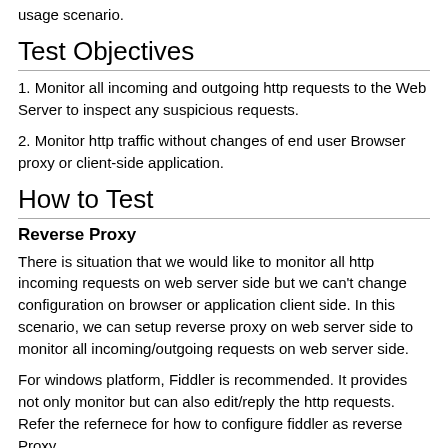usage scenario.
Test Objectives
1. Monitor all incoming and outgoing http requests to the Web Server to inspect any suspicious requests.
2. Monitor http traffic without changes of end user Browser proxy or client-side application.
How to Test
Reverse Proxy
There is situation that we would like to monitor all http incoming requests on web server side but we can't change configuration on browser or application client side. In this scenario, we can setup reverse proxy on web server side to monitor all incoming/outgoing requests on web server side.
For windows platform, Fiddler is recommended. It provides not only monitor but can also edit/reply the http requests. Refer the refernece for how to configure fiddler as reverse Proxy.